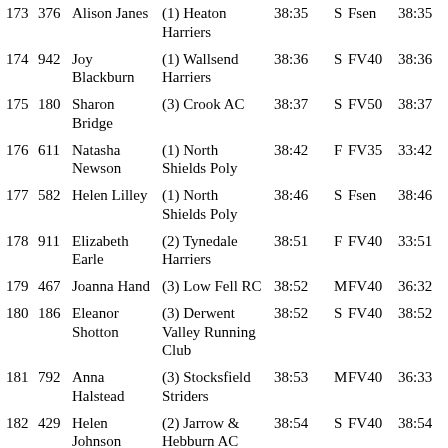| Pos | No | Name | Club | Time |  | Cat | Cat Time |
| --- | --- | --- | --- | --- | --- | --- | --- |
| 173 | 376 | Alison Janes | (1) Heaton Harriers | 38:35 | S | Fsen | 38:35 |
| 174 | 942 | Joy Blackburn | (1) Wallsend Harriers | 38:36 | S | FV40 | 38:36 |
| 175 | 180 | Sharon Bridge | (3) Crook AC | 38:37 | S | FV50 | 38:37 |
| 176 | 611 | Natasha Newson | (1) North Shields Poly | 38:42 | F | FV35 | 33:42 |
| 177 | 582 | Helen Lilley | (1) North Shields Poly | 38:46 | S | Fsen | 38:46 |
| 178 | 911 | Elizabeth Earle | (2) Tynedale Harriers | 38:51 | F | FV40 | 33:51 |
| 179 | 467 | Joanna Hand | (3) Low Fell RC | 38:52 | M | FV40 | 36:32 |
| 180 | 186 | Eleanor Shotton | (3) Derwent Valley Running Club | 38:52 | S | FV40 | 38:52 |
| 181 | 792 | Anna Halstead | (3) Stocksfield Striders | 38:53 | M | FV40 | 36:33 |
| 182 | 429 | Helen Johnson | (2) Jarrow & Hebburn AC | 38:54 | S | FV40 | 38:54 |
| 183 | 638 | Abby Dennis | (3) Ponteland | 38:55 | M | Fsen | 36:35 |